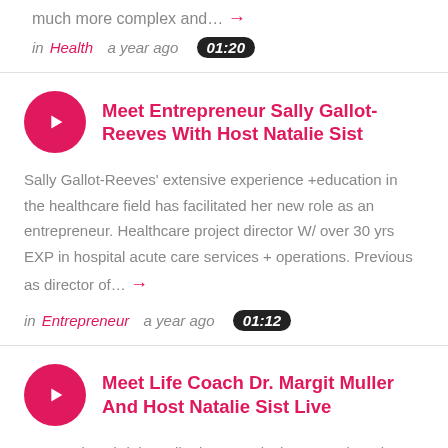much more complex and… →
in Health  a year ago  01:20
Meet Entrepreneur Sally Gallot-Reeves With Host Natalie Sist
Sally Gallot-Reeves' extensive experience +education in the healthcare field has facilitated her new role as an entrepreneur. Healthcare project director W/ over 30 yrs EXP in hospital acute care services + operations. Previous as director of… →
in Entrepreneur  a year ago  01:12
Meet Life Coach Dr. Margit Muller And Host Natalie Sist Live
Dr. Margit Gabriele Muller is currently the Executive Dir…